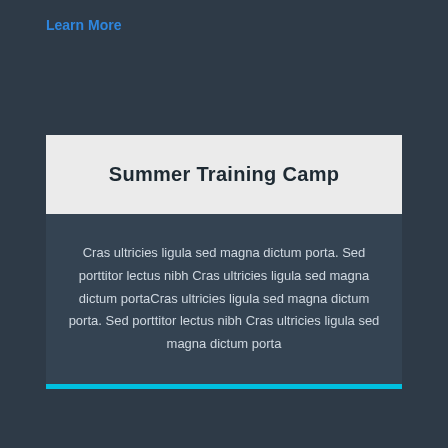Learn More
Summer Training Camp
Cras ultricies ligula sed magna dictum porta. Sed porttitor lectus nibh Cras ultricies ligula sed magna dictum portaCras ultricies ligula sed magna dictum porta. Sed porttitor lectus nibh Cras ultricies ligula sed magna dictum porta